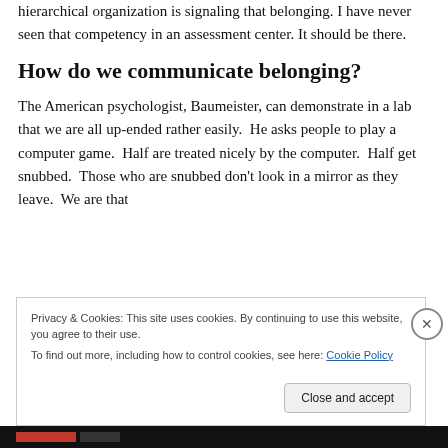hierarchical organization is signaling that belonging. I have never seen that competency in an assessment center. It should be there.
How do we communicate belonging?
The American psychologist, Baumeister, can demonstrate in a lab that we are all up-ended rather easily.  He asks people to play a computer game.  Half are treated nicely by the computer.  Half get snubbed.  Those who are snubbed don't look in a mirror as they leave.  We are that
Privacy & Cookies: This site uses cookies. By continuing to use this website, you agree to their use.
To find out more, including how to control cookies, see here: Cookie Policy